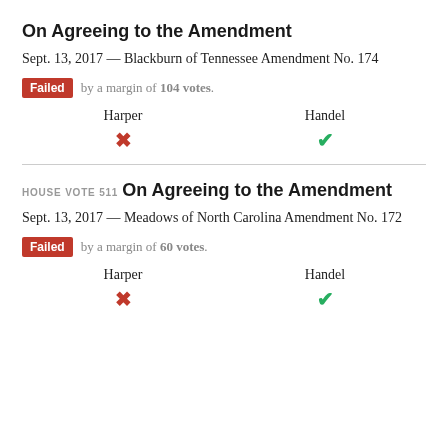On Agreeing to the Amendment
Sept. 13, 2017 — Blackburn of Tennessee Amendment No. 174
Failed by a margin of 104 votes.
| Harper | Handel |
| --- | --- |
| ✗ | ✓ |
HOUSE VOTE 511
On Agreeing to the Amendment
Sept. 13, 2017 — Meadows of North Carolina Amendment No. 172
Failed by a margin of 60 votes.
| Harper | Handel |
| --- | --- |
| ✗ | ✓ |